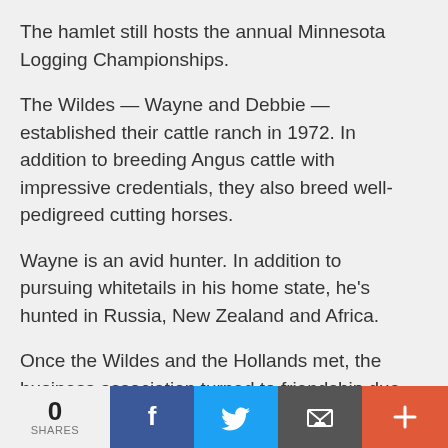The hamlet still hosts the annual Minnesota Logging Championships.
The Wildes — Wayne and Debbie — established their cattle ranch in 1972. In addition to breeding Angus cattle with impressive credentials, they also breed well-pedigreed cutting horses.
Wayne is an avid hunter. In addition to pursuing whitetails in his home state, he's hunted in Russia, New Zealand and Africa.
Once the Wildes and the Hollands met, the business association turned to friendship due to mutual respect in the business world and their shared love of hunting big game.
“We had the cattle business in common and the love for hunting,” Gary said. “It is a long drive, but we don’t care. We
0 SHARES  Facebook  Twitter  Email  +